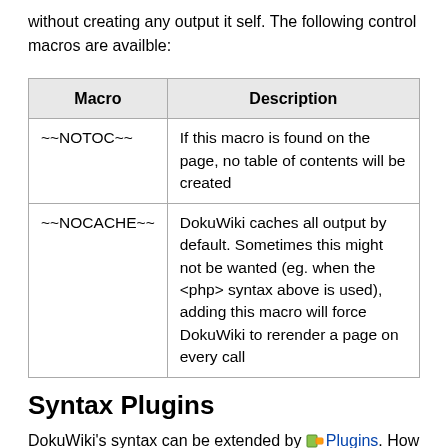without creating any output it self. The following control macros are availble:
| Macro | Description |
| --- | --- |
| ~~NOTOC~~ | If this macro is found on the page, no table of contents will be created |
| ~~NOCACHE~~ | DokuWiki caches all output by default. Sometimes this might not be wanted (eg. when the <php> syntax above is used), adding this macro will force DokuWiki to rerender a page on every call |
Syntax Plugins
DokuWiki's syntax can be extended by 🔌 Plugins. How the installed plugins are used is described on their appropriate description pages. The following syntax plugins are available in this particular DokuWiki